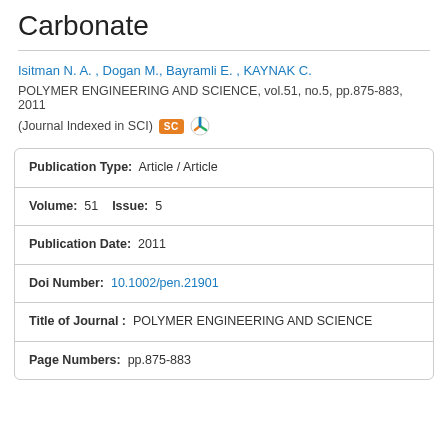Carbonate
Isitman N. A. , Dogan M., Bayramli E. , KAYNAK C.
POLYMER ENGINEERING AND SCIENCE, vol.51, no.5, pp.875-883, 2011 (Journal Indexed in SCI)
| Publication Type: | Article / Article |
| Volume: 51   Issue: | 5 |
| Publication Date: | 2011 |
| Doi Number: | 10.1002/pen.21901 |
| Title of Journal : | POLYMER ENGINEERING AND SCIENCE |
| Page Numbers: | pp.875-883 |